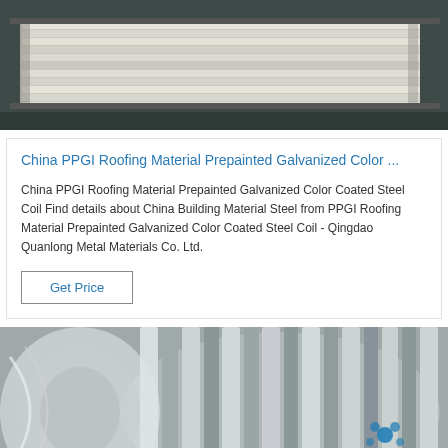[Figure (photo): Stack of white/light colored prepainted steel sheet panels stored in an industrial warehouse setting, viewed from the side.]
China PPGI Roofing Material Prepainted Galvanized Color ...
China PPGI Roofing Material Prepainted Galvanized Color Coated Steel Coil Find details about China Building Material Steel from PPGI Roofing Material Prepainted Galvanized Color Coated Steel Coil - Qingdao Quanlong Metal Materials Co. Ltd.
Get Price
[Figure (photo): Close-up photo of shiny metallic steel coil strips wound tightly, with a TOP logo watermark visible in the lower right corner.]